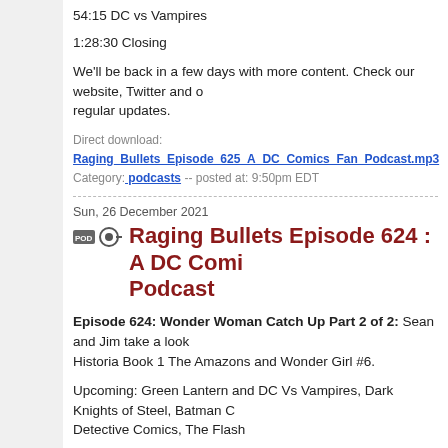54:15 DC vs Vampires
1:28:30 Closing
We'll be back in a few days with more content.  Check our website, Twitter and other social media for regular updates.
Direct download: Raging_Bullets_Episode_625_A_DC_Comics_Fan_Podcast.mp3
Category: podcasts -- posted at: 9:50pm EDT
Sun, 26 December 2021
Raging Bullets Episode 624 : A DC Comics Fan Podcast
Episode 624: Wonder Woman Catch Up Part 2 of 2: Sean and Jim take a look at Wonder Woman Historia Book 1 The Amazons and Wonder Girl #6.
Upcoming: Green Lantern and DC Vs Vampires, Dark Knights of Steel, Batman One Bad Day, Detective Comics, The Flash
Contact Info (Social Media and Gaming):
https://ragingbullets.com/about/
Facebook Group:
https://www.facebook.com/groups/401332833597062/
Show Notes:
0:00 Show opening, http://www.heroinitiative.org, http://cbldf.org/,http://www... http://www.Instocktrades.com, show voicemail line 1-440-388-4434 or dmorge...
2:25 Wonder Woman Historia Book 1